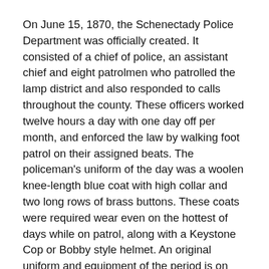On June 15, 1870, the Schenectady Police Department was officially created. It consisted of a chief of police, an assistant chief and eight patrolmen who patrolled the lamp district and also responded to calls throughout the county. These officers worked twelve hours a day with one day off per month, and enforced the law by walking foot patrol on their assigned beats. The policeman's uniform of the day was a woolen knee-length blue coat with high collar and two long rows of brass buttons. These coats were required wear even on the hottest of days while on patrol, along with a Keystone Cop or Bobby style helmet. An original uniform and equipment of the period is on display in the lobby of the Schenectady Police Department on a mannequin also sporting the handlebar mustache and mutton chop sideburns which were fashionable at the time.
One of the original officers of the department and